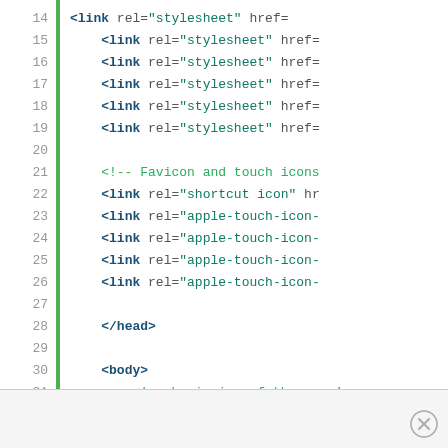[Figure (screenshot): Source code viewer showing HTML code lines 14-31 with syntax highlighting. Line numbers on left, green vertical bar, code with blue tags and green strings/comments. Lines 14-19 show link rel='stylesheet' href=..., line 20 blank, line 21 comment Favicon and touch icons, lines 22-26 link rel shortcut icon and apple-touch-icon, line 27 blank, line 28 </head>, line 29 blank, line 30 <body>, line 31 comment beginning of the page's]
[Figure (other): Footer bar with close button (X in circle) at bottom right]